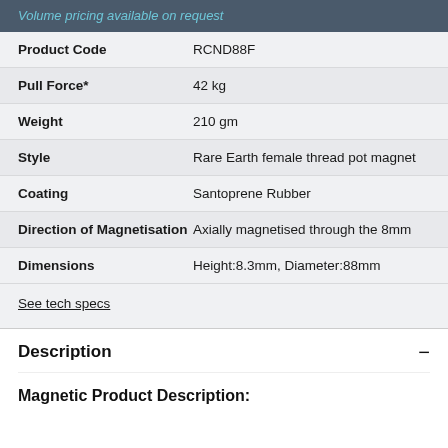Volume pricing available on request
| Property | Value |
| --- | --- |
| Product Code | RCND88F |
| Pull Force* | 42 kg |
| Weight | 210 gm |
| Style | Rare Earth female thread pot magnet |
| Coating | Santoprene Rubber |
| Direction of Magnetisation | Axially magnetised through the 8mm |
| Dimensions | Height:8.3mm, Diameter:88mm |
See tech specs
Description
Magnetic Product Description: